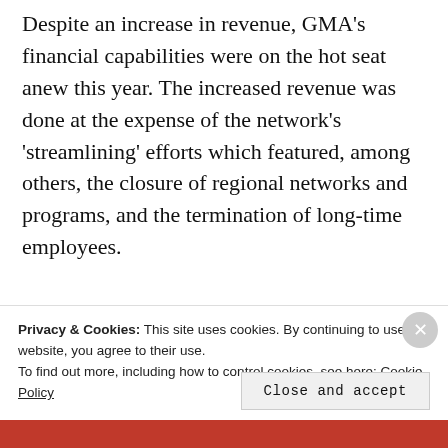Despite an increase in revenue, GMA's financial capabilities were on the hot seat anew this year. The increased revenue was done at the expense of the network's 'streamlining' efforts which featured, among others, the closure of regional networks and programs, and the termination of long-time employees.
Felipe Gozon's reluctance to sell a
Privacy & Cookies: This site uses cookies. By continuing to use this website, you agree to their use. To find out more, including how to control cookies, see here: Cookie Policy